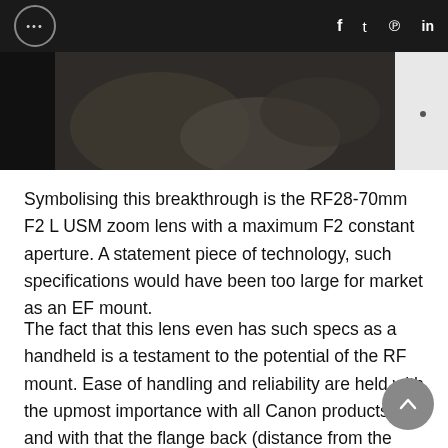••• f y p in
[Figure (photo): Partial photo of a camera lens or hands holding camera equipment, dark background with some beige/brown tones visible, white edge on right side.]
Symbolising this breakthrough is the RF28-70mm F2 L USM zoom lens with a maximum F2 constant aperture. A statement piece of technology, such specifications would have been too large for market as an EF mount.
The fact that this lens even has such specs as a handheld is a testament to the potential of the RF mount. Ease of handling and reliability are held with the upmost importance with all Canon products, and with that the flange back (distance from the mount